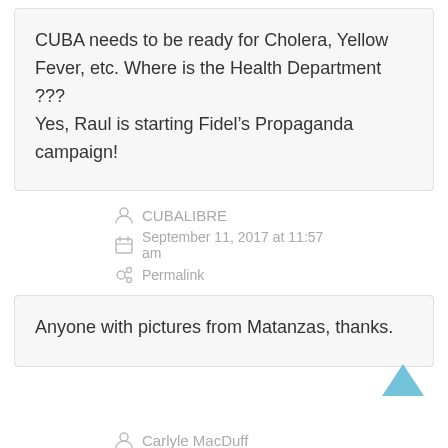CUBA needs to be ready for Cholera, Yellow Fever, etc. Where is the Health Department ???
Yes, Raul is starting Fidel’s Propaganda campaign!
CUBALIBRE
September 11, 2017 at 11:57 am
Permalink
Anyone with pictures from Matanzas, thanks.
Carlyle MacDuff